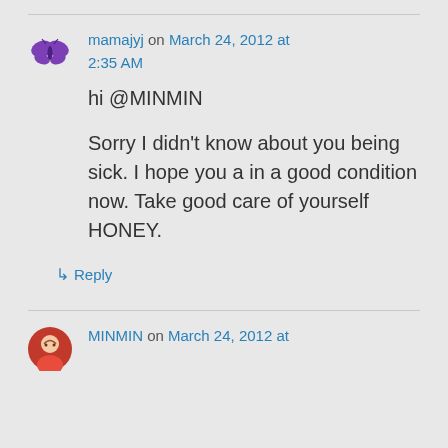mamajyj on March 24, 2012 at 2:35 AM
hi @MINMIN

Sorry I didn't know about you being sick. I hope you a in a good condition now. Take good care of yourself HONEY.
↳ Reply
MINMIN on March 24, 2012 at